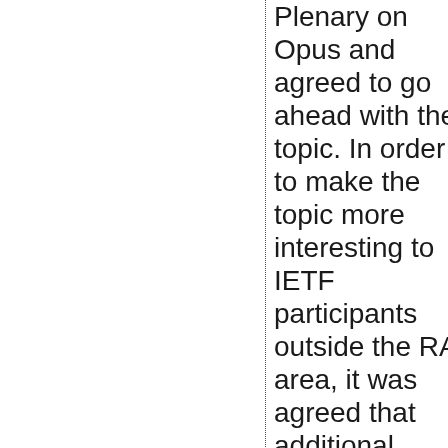Plenary on Opus and agreed to go ahead with the topic. In order to make the topic more interesting to IETF participants outside the RAI area, it was agreed that additional efforts would be made to recruit speakers